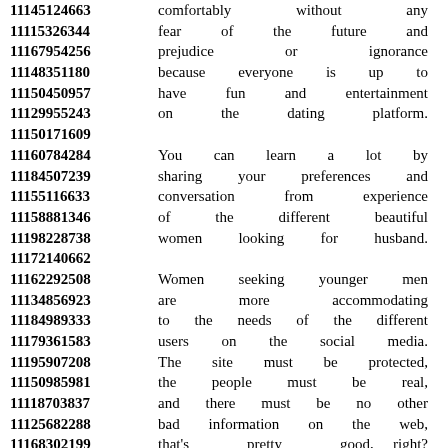11145124663 comfortably without any
11115326344 fear of the future and
11167954256 prejudice or ignorance
11148351180 because everyone is up to
11150450957 have fun and entertainment
11129955243 on the dating platform.
11150171609
11160784284 You can learn a lot by
11184507239 sharing your preferences and
11155116633 conversation from experience
11158881346 of the different beautiful
11198228738 women looking for husband.
11172140662
11162292508 Women seeking younger men
11134856923 are more accommodating
11184989333 to the needs of the different
11179361583 users on the social media.
11195907208 The site must be protected,
11150985981 the people must be real,
11118703837 and there must be no other
11125682288 bad information on the web,
11168302199 that's pretty good, right?
11167176516 We are making it easy for you
11186731719 to find women seeking men
11198649572 in our international service.
11157479685